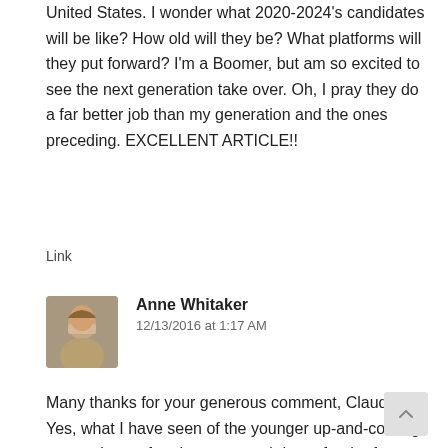United States. I wonder what 2020-2024's candidates will be like? How old will they be? What platforms will they put forward? I'm a Boomer, but am so excited to see the next generation take over. Oh, I pray they do a far better job than my generation and the ones preceding. EXCELLENT ARTICLE!!
Link
Anne Whitaker
12/13/2016 at 1:17 AM
[Figure (photo): Avatar photo of Anne Whitaker, a woman with short hair]
Many thanks for your generous comment, Claudia! Yes, what I have seen of the younger up-and-coming generation so far gives me much hope for the futur although we Boomers will not live to see it.